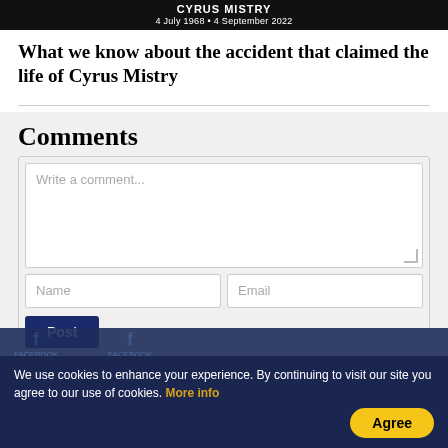CYRUS MISTRY
4 July 1968 • 4 September 2022
What we know about the accident that claimed the life of Cyrus Mistry
Comments
Write a comment...
Name
Email
Post
We use cookies to enhance your experience. By continuing to visit our site you agree to our use of cookies. More info